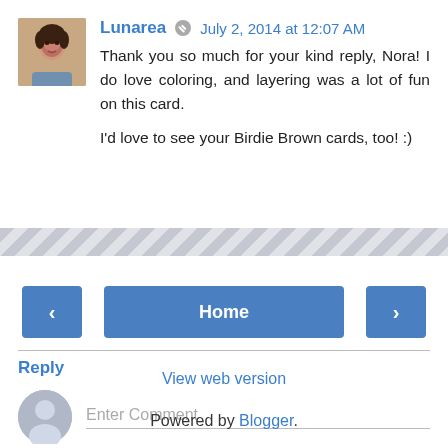Lunarea · July 2, 2014 at 12:07 AM
Thank you so much for your kind reply, Nora! I do love coloring, and layering was a lot of fun on this card.

I'd love to see your Birdie Brown cards, too! :)
Reply
Enter Comment
[Figure (other): Decorative zigzag/wave bottom band separator]
< | Home | >
View web version
Powered by Blogger.